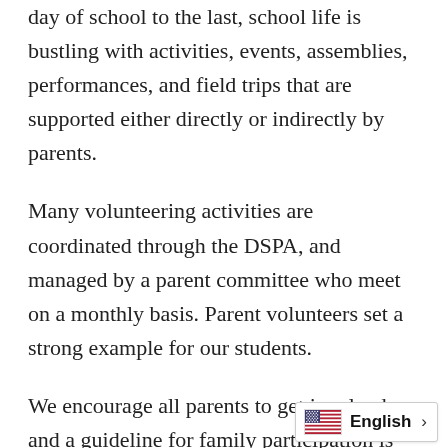day of school to the last, school life is bustling with activities, events, assemblies, performances, and field trips that are supported either directly or indirectly by parents.
Many volunteering activities are coordinated through the DSPA, and managed by a parent committee who meet on a monthly basis. Parent volunteers set a strong example for our students.
We encourage all parents to get involved and a guideline for family participation is 15 volunteer hours annually. Parents fulfill their hours through a combination of participation in events, classroom support and serving on committees.
Attend the School Volunteer Job Fair